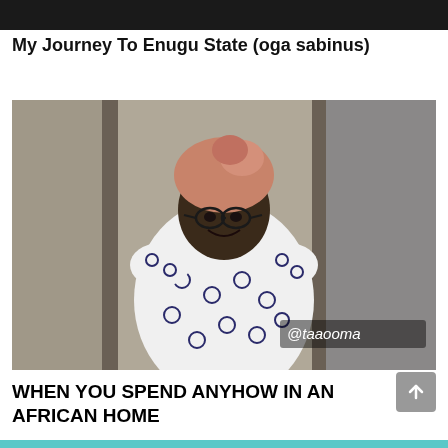[Figure (photo): Dark banner/thumbnail strip at the top of the page]
My Journey To Enugu State (oga sabinus)
[Figure (photo): A woman wearing glasses and a pink/salmon head wrap, smiling, dressed in a white and navy polka dot outfit. Watermark @taaooma in the lower right corner.]
WHEN YOU SPEND ANYHOW IN AN AFRICAN HOME